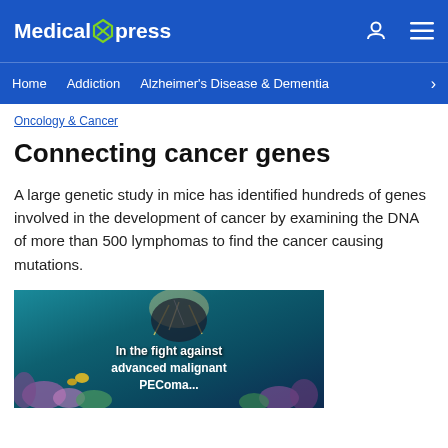Medical Xpress
Home  Addiction  Alzheimer's Disease & Dementia
Oncology & Cancer
Connecting cancer genes
A large genetic study in mice has identified hundreds of genes involved in the development of cancer by examining the DNA of more than 500 lymphomas to find the cancer causing mutations.
[Figure (photo): Ocean/coral reef scene with text overlay reading 'In the fight against advanced malignant PEComa...']